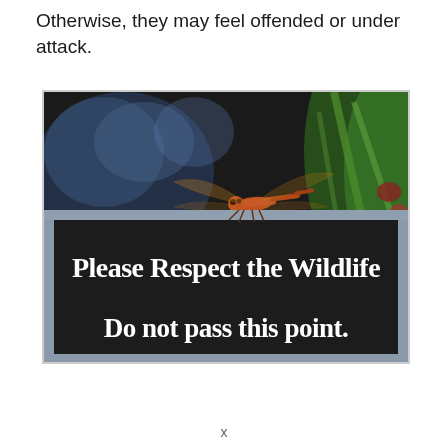Otherwise, they may feel offended or under attack.
[Figure (photo): A red dragonfly perched on top of a black sign with a silver frame. The sign reads 'Please Respect the Wildlife Do not pass this point.' in white serif font. Background shows blurred green foliage and dark bokeh.]
x